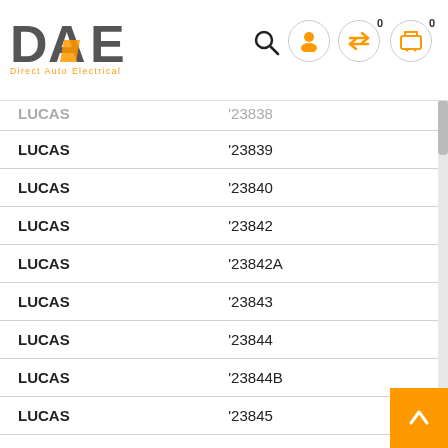[Figure (logo): DAE Direct Auto Electrical logo with orange diagonal stripe]
| Brand | Part Number |
| --- | --- |
| LUCAS | '23839 |
| LUCAS | '23840 |
| LUCAS | '23842 |
| LUCAS | '23842A |
| LUCAS | '23843 |
| LUCAS | '23844 |
| LUCAS | '23844B |
| LUCAS | '23845 |
| LUCAS | '23846 |
| LUCAS | '23847 |